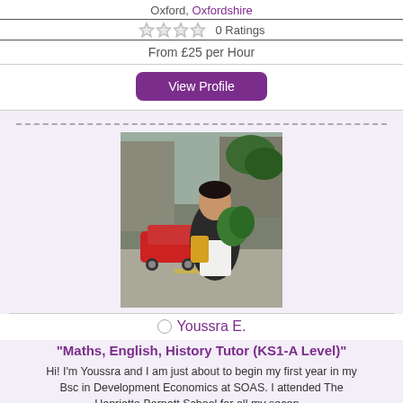Oxford, Oxfordshire
0 Ratings
From £25 per Hour
View Profile
[Figure (photo): Profile photo of a young woman standing outdoors holding flowers/grocery bags, with a red car in the background on a street.]
Youssra E.
"Maths, English, History Tutor (KS1-A Level)"
Hi! I'm Youssra and I am just about to begin my first year in my Bsc in Development Economics at SOAS. I attended The Henrietta Barnett School for all my secon...
Subjects tutored: English, History, Entrance Exams,
Login to see distance